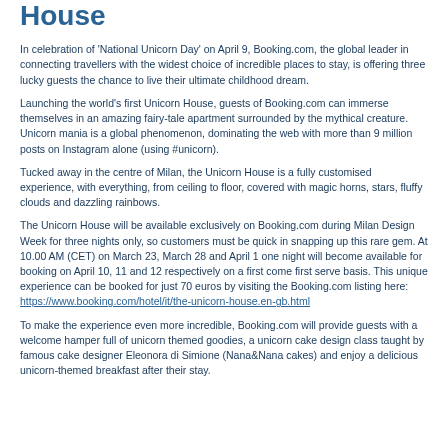House
In celebration of 'National Unicorn Day' on April 9, Booking.com, the global leader in connecting travellers with the widest choice of incredible places to stay, is offering three lucky guests the chance to live their ultimate childhood dream.
Launching the world's first Unicorn House, guests of Booking.com can immerse themselves in an amazing fairy-tale apartment surrounded by the mythical creature. Unicorn mania is a global phenomenon, dominating the web with more than 9 million posts on Instagram alone (using #unicorn).
Tucked away in the centre of Milan, the Unicorn House is a fully customised experience, with everything, from ceiling to floor, covered with magic horns, stars, fluffy clouds and dazzling rainbows.
The Unicorn House will be available exclusively on Booking.com during Milan Design Week for three nights only, so customers must be quick in snapping up this rare gem. At 10.00 AM (CET) on March 23, March 28 and April 1 one night will become available for booking on April 10, 11 and 12 respectively on a first come first serve basis. This unique experience can be booked for just 70 euros by visiting the Booking.com listing here: https://www.booking.com/hotel/it/the-unicorn-house.en-gb.html
To make the experience even more incredible, Booking.com will provide guests with a welcome hamper full of unicorn themed goodies, a unicorn cake design class taught by famous cake designer Eleonora di Simione (Nana&Nana cakes) and enjoy a delicious unicorn-themed breakfast after their stay.